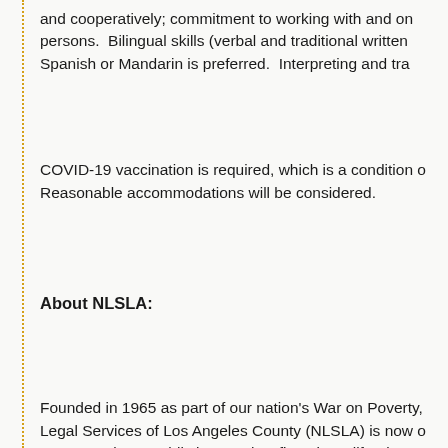and cooperatively; commitment to working with and on behalf of low-income persons. Bilingual skills (verbal and traditional written) in a language such as Spanish or Mandarin is preferred. Interpreting and tra...
COVID-19 vaccination is required, which is a condition of employment. Reasonable accommodations will be considered.
About NLSLA:
Founded in 1965 as part of our nation's War on Poverty, Neighborhood Legal Services of Los Angeles County (NLSLA) is now one of the largest and most prominent public interest law firms in California. NLSLA provides assistance to more than 115,000 low-income residents of Los Angeles County each year. The NLSLA staff of 180, including 80 attorneys, work in areas of the law that disproportionately impact low...